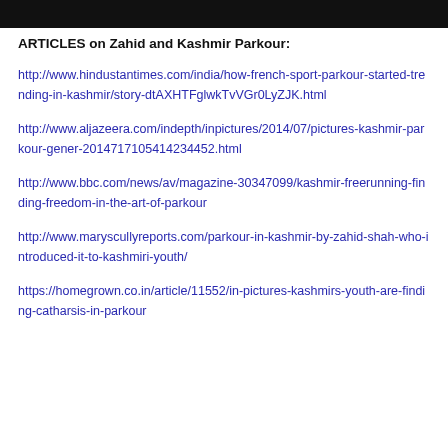ARTICLES on Zahid and Kashmir Parkour:
http://www.hindustantimes.com/india/how-french-sport-parkour-started-trending-in-kashmir/story-dtAXHTFglwkTvVGr0LyZJK.html
http://www.aljazeera.com/indepth/inpictures/2014/07/pictures-kashmir-parkour-gener-2014717105414234452.html
http://www.bbc.com/news/av/magazine-30347099/kashmir-freerunning-finding-freedom-in-the-art-of-parkour
http://www.maryscullyreports.com/parkour-in-kashmir-by-zahid-shah-who-introduced-it-to-kashmiri-youth/
https://homegrown.co.in/article/11552/in-pictures-kashmirs-youth-are-finding-catharsis-in-parkour